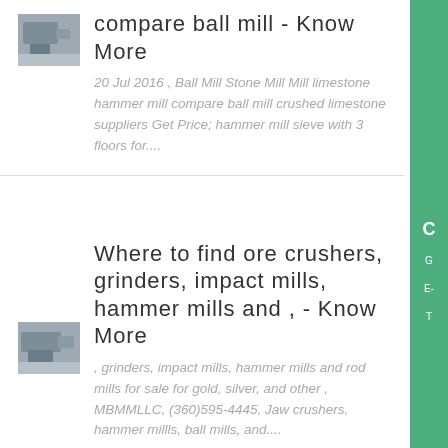compare ball mill - Know More
[Figure (photo): Thumbnail image of industrial mill equipment, gray tones]
20 Jul 2016 , Ball Mill Stone Mill Mill limestone hammer mill compare ball mill crushed limestone suppliers Get Price; hammer mill sieve with 3 floors for....
Where to find ore crushers, grinders, impact mills, hammer mills and , - Know More
[Figure (photo): Thumbnail image of industrial crusher/mill equipment, gray tones]
, grinders, impact mills, hammer mills and rod mills for sale for gold, silver, and other , MBMMLLC, (360)595-4445, Jaw crushers, hammer millls, ball mills, and....